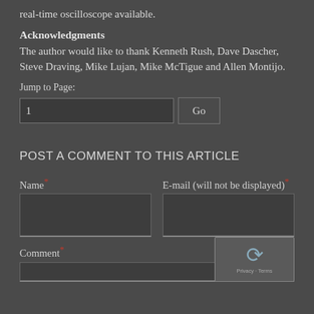real-time oscilloscope available.
Acknowledgments
The author would like to thank Kenneth Rush, Dave Dascher, Steve Draving, Mike Lujan, Mike McTigue and Allen Montijo.
Jump to Page:
POST A COMMENT TO THIS ARTICLE
Name*
E-mail (will not be displayed)*
Comment*